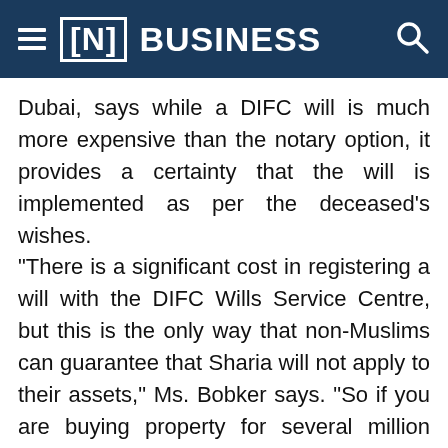[N] BUSINESS
Dubai, says while a DIFC will is much more expensive than the notary option, it provides a certainty that the will is implemented as per the deceased’s wishes.
“There is a significant cost in registering a will with the DIFC Wills Service Centre, but this is the only way that non-Muslims can guarantee that Sharia will not apply to their assets,” Ms. Bobker says. “So if you are buying property for several million dirhams, it is a sensible course of action.”
Amna Al Owais, chief executive and registrar of DIFC Courts, says the fees are nominal compared to the value proposition offered